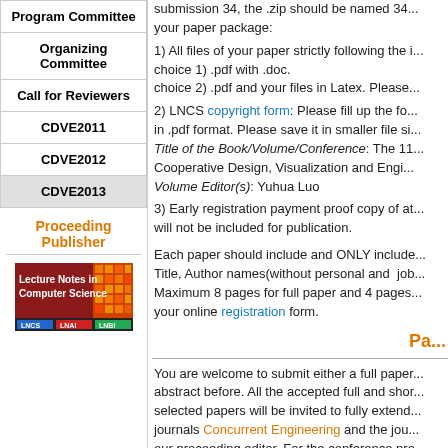| Program Committee |
| Organizing Committee |
| Call for Reviewers |
| CDVE2011 |
| CDVE2012 |
| CDVE2013 |
Proceeding Publisher
[Figure (logo): Lecture Notes in Computer Science logo with LNCS, LNAI, LNBI labels]
submission 34, the .zip should be named 34.... your paper package:
1) All files of your paper strictly following the i... choice 1) .pdf with .doc. choice 2) .pdf and your files in Latex. Please...
2) LNCS copyright form: Please fill up the fo... in .pdf format. Please save it in smaller file si... Title of the Book/Volume/Conference: The 11... Cooperative Design, Visualization and Engi... Volume Editor(s): Yuhua Luo
3) Early registration payment proof copy of at... will not be included for publication.
Each paper should include and ONLY include... Title, Author names(without personal and job... Maximum 8 pages for full paper and 4 pages... your online registration form.
Pa...
You are welcome to submit either a full paper... abstract before. All the accepted full and shor... selected papers will be invited to fully extend... journals Concurrent Engineering and the jou... our proceeding editor. For the conference pro...